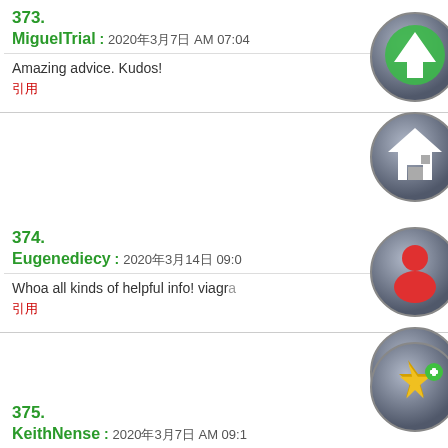373.
MiguelTrial : 2020年3月7日 AM 07:04
Amazing advice. Kudos!
引用
[Figure (illustration): Green upward arrow button icon on metallic circle]
[Figure (illustration): Home icon on metallic dark circle]
374.
Eugenediecy : 2020年3月14日 09:0X
Whoa all kinds of helpful info! viagra
引用
[Figure (illustration): Red person/user icon on metallic dark circle]
[Figure (illustration): Purple/pink shop/store icon on metallic dark circle]
375.
KeithNense : 2020年3月7日 AM 09:16
[Figure (illustration): Gold star with plus icon on metallic dark circle]